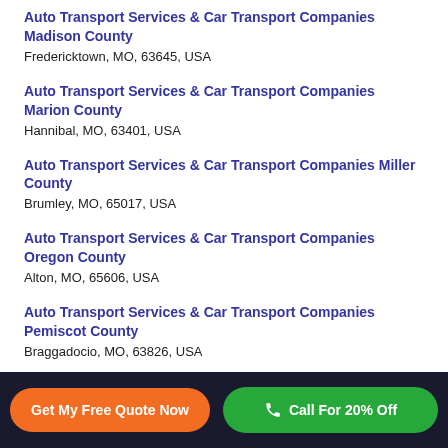Auto Transport Services & Car Transport Companies Madison County
Fredericktown, MO, 63645, USA
Auto Transport Services & Car Transport Companies Marion County
Hannibal, MO, 63401, USA
Auto Transport Services & Car Transport Companies Miller County
Brumley, MO, 65017, USA
Auto Transport Services & Car Transport Companies Oregon County
Alton, MO, 65606, USA
Auto Transport Services & Car Transport Companies Pemiscot County
Braggadocio, MO, 63826, USA
Get My Free Quote Now | Call For 20% Off